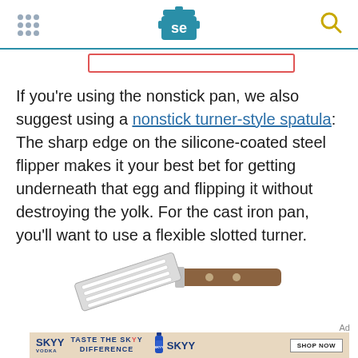Serious Eats (SE) logo with navigation grid and search icon
If you're using the nonstick pan, we also suggest using a nonstick turner-style spatula: The sharp edge on the silicone-coated steel flipper makes it your best bet for getting underneath that egg and flipping it without destroying the yolk. For the cast iron pan, you'll want to use a flexible slotted turner.
[Figure (photo): A slotted metal spatula (flexible slotted turner) with a wooden handle, shown on a white background.]
[Figure (photo): SKYY Vodka advertisement banner: 'TASTE THE SKYY DIFFERENCE' with SKYY bottle image and 'SHOP NOW' button on a warm beige background.]